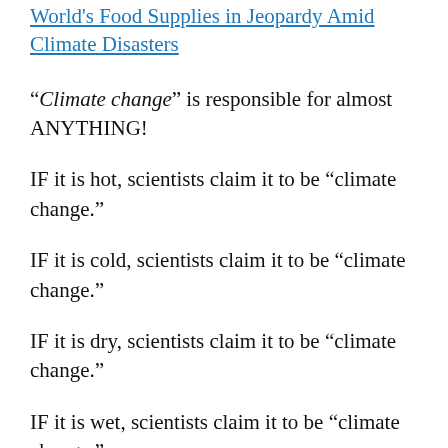World's Food Supplies in Jeopardy Amid Climate Disasters
“Climate change” is responsible for almost ANYTHING!
IF it is hot, scientists claim it to be “climate change.”
IF it is cold, scientists claim it to be “climate change.”
IF it is dry, scientists claim it to be “climate change.”
IF it is wet, scientists claim it to be “climate change.”